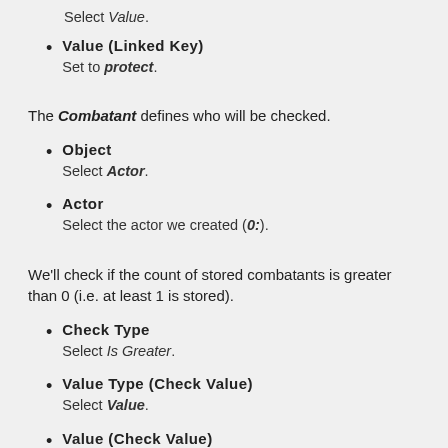Value (Linked Key)
Set to protect.
The Combatant defines who will be checked.
Object
Select Actor.
Actor
Select the actor we created (0:).
We'll check if the count of stored combatants is greater than 0 (i.e. at least 1 is stored).
Check Type
Select Is Greater.
Value Type (Check Value)
Select Value.
Value (Check Value)